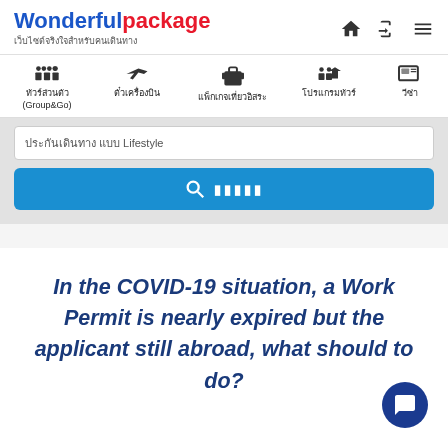Wonderfulpackage — เว็บไซต์จริงใจสำหรับคนเดินทาง
[Figure (screenshot): Website navigation bar with icons: ทัวร์ส่วนตัว (Group&Go), ตั๋วเครื่องบิน, แพ็กเกจเที่ยวอิสระ, โปรแกรมทัวร์, วีซ่า]
[Figure (screenshot): Search bar with text input and blue search button with Thai text ค้นหา]
In the COVID-19 situation, a Work Permit is nearly expired but the applicant still abroad, what should to do?